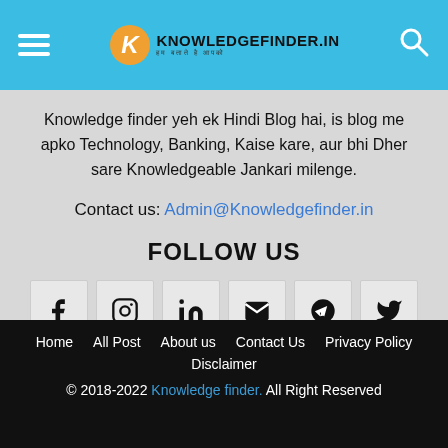KnowledgeFinder.in — हम बताते है आपको
Knowledge finder yeh ek Hindi Blog hai, is blog me apko Technology, Banking, Kaise kare, aur bhi Dher sare Knowledgeable Jankari milenge.
Contact us: Admin@Knowledgefinder.in
FOLLOW US
[Figure (other): Social media icons row: Facebook, Instagram, LinkedIn, Email, Telegram, Twitter]
Home  All Post  About us  Contact Us  Privacy Policy  Disclaimer
© 2018-2022 Knowledge finder. All Right Reserved